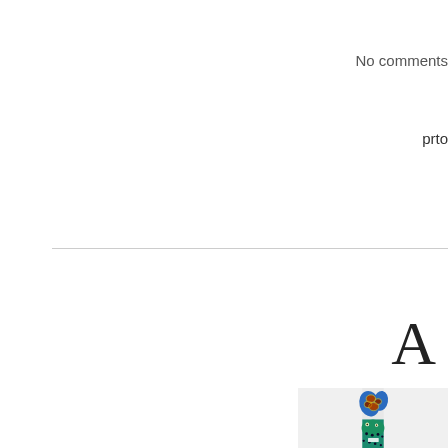No comments
prto
A
[Figure (photo): Colorful painted ceramic or clay animal figure with blue body, red and orange decorative spots/patterns, yellow outlines, and dark circular dots. Appears to be a folk art piece, possibly a Mexican Alebrije or similar decorative animal sculpture.]